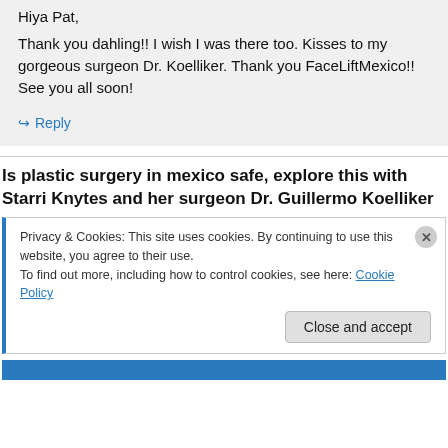Hiya Pat,
Thank you dahling!! I wish I was there too. Kisses to my gorgeous surgeon Dr. Koelliker. Thank you FaceLiftMexico!! See you all soon!
↪ Reply
Is plastic surgery in mexico safe, explore this with Starri Knytes and her surgeon Dr. Guillermo Koelliker
Privacy & Cookies: This site uses cookies. By continuing to use this website, you agree to their use.
To find out more, including how to control cookies, see here: Cookie Policy
Close and accept